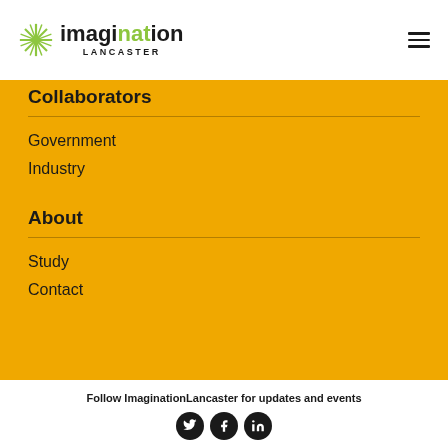Imagination Lancaster
Collaborators
Government
Industry
About
Study
Contact
Follow ImaginationLancaster for updates and events